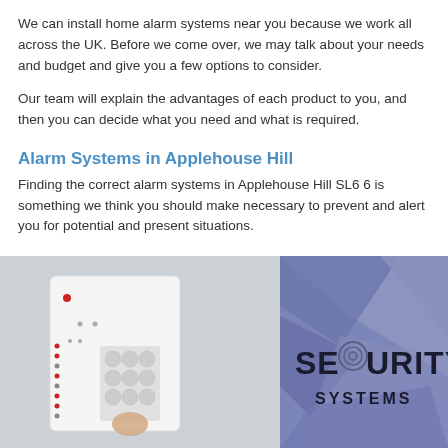We can install home alarm systems near you because we work all across the UK. Before we come over, we may talk about your needs and budget and give you a few options to consider.
Our team will explain the advantages of each product to you, and then you can decide what you need and what is required.
Alarm Systems in Applehouse Hill
Finding the correct alarm systems in Applehouse Hill SL6 6 is something we think you should make necessary to prevent and alert you for potential and present situations.
[Figure (photo): A split image showing a home security alarm keypad on the left (white panel with buttons and red LEDs) and a purple/blue geometric background on the right with bold text reading 'SECURITY SYSTEMS' where the O in SECURITY is replaced by a target/bullseye icon.]